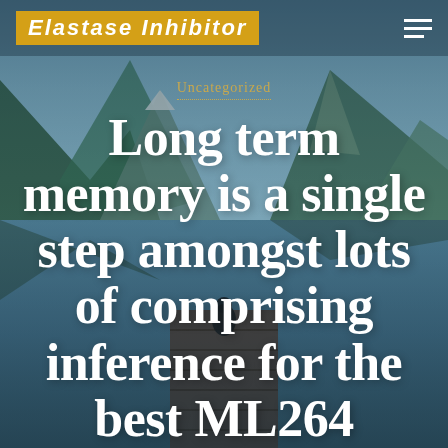Elastase Inhibitor
Uncategorized
Long term memory is a single step amongst lots of comprising inference for the best ML264
OCTOBER 23, 2018
signsin1dayinc